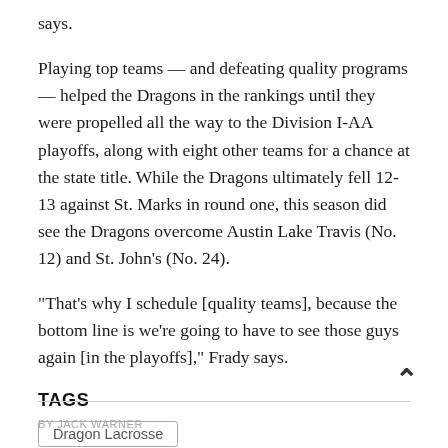says.
Playing top teams — and defeating quality programs — helped the Dragons in the rankings until they were propelled all the way to the Division I-AA playoffs, along with eight other teams for a chance at the state title. While the Dragons ultimately fell 12-13 against St. Marks in round one, this season did see the Dragons overcome Austin Lake Travis (No. 12) and St. John's (No. 24).
“That's why I schedule [quality teams], because the bottom line is we're going to have to see those guys again [in the playoffs],” Frady says.
TAGS
Dragon Lacrosse
BY JACK WARNER